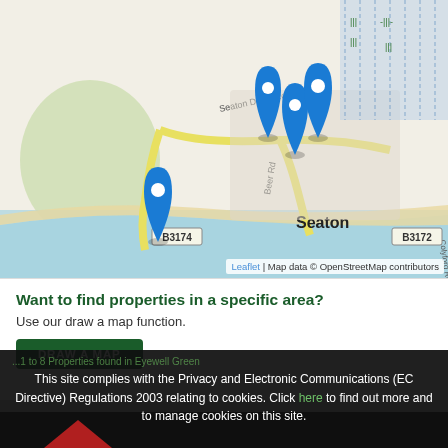[Figure (map): Street map of Seaton area showing Seaton Down Road, Beer Road (B3174), Harbour Road, Colyford Road, B3172. Four blue location pin markers are shown in the Seaton town area. Map data from OpenStreetMap contributors, rendered via Leaflet.]
Leaflet | Map data © OpenStreetMap contributors
Want to find properties in a specific area?
Use our draw a map function.
DRAW A MAP
1 to 8 Properties found in Eyewell Green
This site complies with the Privacy and Electronic Communications (EC Directive) Regulations 2003 relating to cookies. Click here to find out more and to manage cookies on this site.